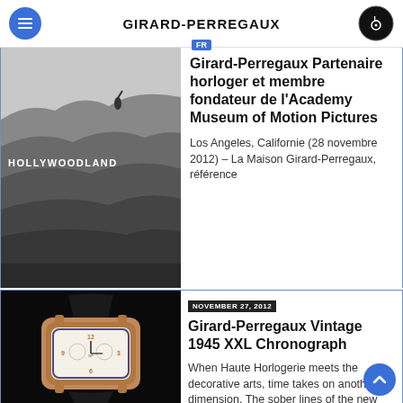GIRARD-PERREGAUX
[Figure (photo): Black and white historical photo of the Hollywood sign (reading HOLLYWOODLAND) on a hillside with construction workers visible]
Girard-Perregaux Partenaire horloger et membre fondateur de l'Academy Museum of Motion Pictures
Los Angeles, Californie (28 novembre 2012) – La Maison Girard-Perregaux, référence
[Figure (photo): Close-up photo of a Girard-Perregaux Vintage 1945 XXL Chronograph watch with rose gold case on black crocodile leather strap, white dial with orange numerals]
Girard-Perregaux Vintage 1945 XXL Chronograph
When Haute Horlogerie meets the decorative arts, time takes on another dimension. The sober lines of the new Vintage 1945 XXL Chronograph evoke the intimate spirit of the